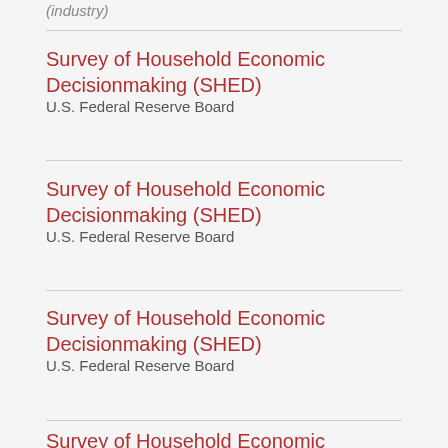(industry)
Survey of Household Economic Decisionmaking (SHED)
U.S. Federal Reserve Board
Survey of Household Economic Decisionmaking (SHED)
U.S. Federal Reserve Board
Survey of Household Economic Decisionmaking (SHED)
U.S. Federal Reserve Board
Survey of Household Economic Decisionmaking (SHED)